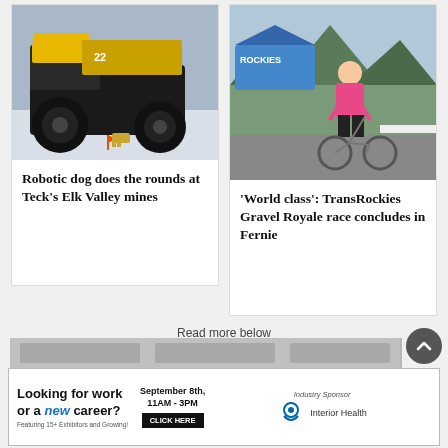[Figure (photo): Large yellow mining dump truck in a snowy landscape with orange flags]
Robotic dog does the rounds at Teck’s Elk Valley mines
[Figure (photo): Cyclist in pink jersey standing with bicycle at TransRockies Gravel Royale event with Rockies tent in background]
‘World class’: TransRockies Gravel Royale race concludes in Fernie
Read more below
[Figure (photo): Partial image strip below read more text]
[Figure (infographic): Advertisement banner: Looking for work or a new career? Featuring 15+ Exhibitors and Growing! September 8th, 11AM-3PM. CLICK HERE. Industry Sponsor: Interior Health]